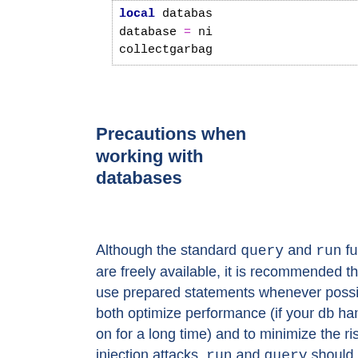[Figure (screenshot): Code snippet showing: local database..., database = nil, collectgarbag...]
Precautions when working with databases
Although the standard query and run functions are freely available, it is recommended that you use prepared statements whenever possible, to both optimize performance (if your db handle lives on for a long time) and to minimize the risk of SQL injection attacks. run and query should only be used when there are no variables inserted into a statement (a static statement). When using dynamic